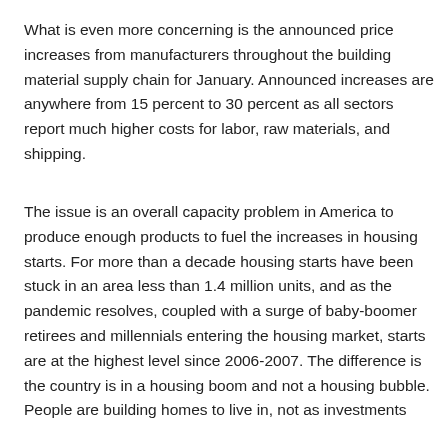What is even more concerning is the announced price increases from manufacturers throughout the building material supply chain for January. Announced increases are anywhere from 15 percent to 30 percent as all sectors report much higher costs for labor, raw materials, and shipping.
The issue is an overall capacity problem in America to produce enough products to fuel the increases in housing starts. For more than a decade housing starts have been stuck in an area less than 1.4 million units, and as the pandemic resolves, coupled with a surge of baby-boomer retirees and millennials entering the housing market, starts are at the highest level since 2006-2007. The difference is the country is in a housing boom and not a housing bubble. People are building homes to live in, not as investments